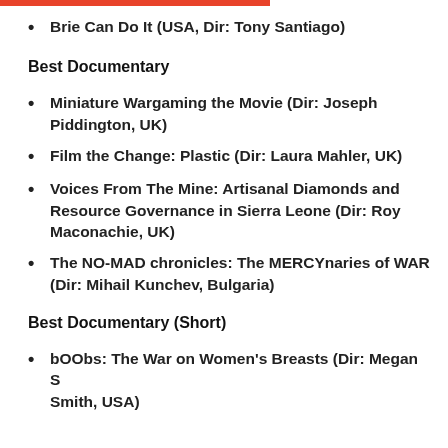Brie Can Do It (USA, Dir: Tony Santiago)
Best Documentary
Miniature Wargaming the Movie (Dir: Joseph Piddington, UK)
Film the Change: Plastic (Dir: Laura Mahler, UK)
Voices From The Mine: Artisanal Diamonds and Resource Governance in Sierra Leone (Dir: Roy Maconachie, UK)
The NO-MAD chronicles: The MERCYnaries of WAR (Dir: Mihail Kunchev, Bulgaria)
Best Documentary (Short)
bOObs: The War on Women's Breasts (Dir: Megan S Smith, USA)